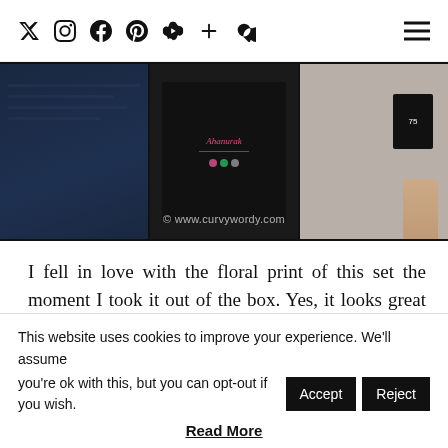Social media nav icons and hamburger menu
[Figure (photo): Three-panel photo strip showing dark navy floral fabric/clothing items with a watermark reading © www.curvywordy.com]
I fell in love with the floral print of this set the moment I took it out of the box. Yes, it looks great in my pictures and on the EM website, but it is EVEN BETTER in real life. The main fabric has a dark navy blue background and it is covered with florals and leaves in pinks, greys, greens, and whites. It is simply stunning.
This website uses cookies to improve your experience. We'll assume you're ok with this, but you can opt-out if you wish. Accept Reject
Read More